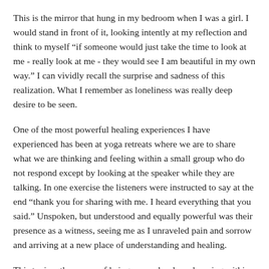This is the mirror that hung in my bedroom when I was a girl. I would stand in front of it, looking intently at my reflection and think to myself “if someone would just take the time to look at me - really look at me - they would see I am beautiful in my own way.” I can vividly recall the surprise and sadness of this realization. What I remember as loneliness was really deep desire to be seen.
One of the most powerful healing experiences I have experienced has been at yoga retreats where we are to share what we are thinking and feeling within a small group who do not respond except by looking at the speaker while they are talking. In one exercise the listeners were instructed to say at the end “thank you for sharing with me. I heard everything that you said.” Unspoken, but understood and equally powerful was their presence as a witness, seeing me as I unraveled pain and sorrow and arriving at a new place of understanding and healing.
This topic – the power of being seen – has been brewing within me for quite awhile and has been inspired by the work of a portrait painter, Mark Gilbert, whom I’ve had the good fortune to get to